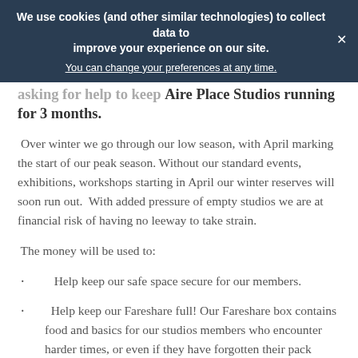We use cookies (and other similar technologies) to collect data to improve your experience on our site. You can change your preferences at any time.
asking for help to keep Aire Place Studios running for 3 months.
Over winter we go through our low season, with April marking the start of our peak season. Without our standard events, exhibitions, workshops starting in April our winter reserves will soon run out. With added pressure of empty studios we are at financial risk of having no leeway to take strain.
The money will be used to:
Help keep our safe space secure for our members.
Help keep our Fareshare full! Our Fareshare box contains food and basics for our studios members who encounter harder times, or even if they have forgotten their pack lunch to keep them fed. These are often donated by other studios member and stocked up by the